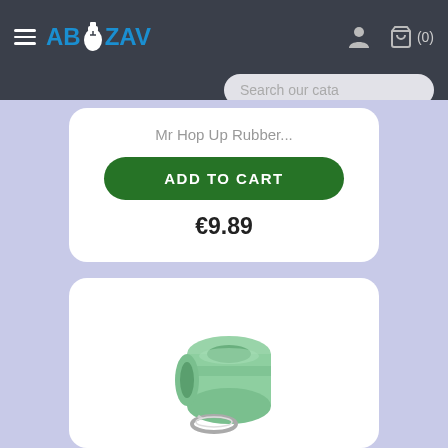ABZAV — navigation header with hamburger menu, logo, user icon, cart (0), and search bar
Mr Hop Up Rubber...
ADD TO CART
€9.89
[Figure (photo): A light green cylindrical airsoft hop-up rubber/bucking component with a metal retaining ring/clip beside it, shown on a white background.]